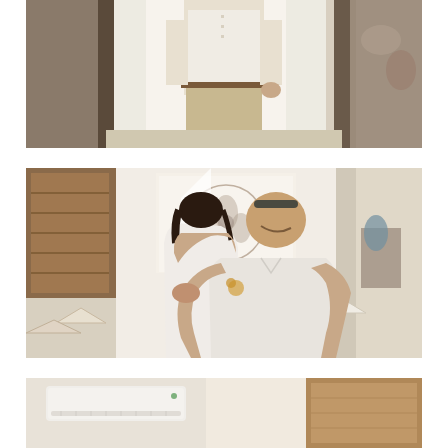[Figure (photo): Top photo: man in white shirt and khaki pants standing in a doorway, shot from waist down, bright backlit exterior visible]
[Figure (photo): Middle photo: bride in white backless gown with veil embracing a bald man in white shirt, both hugging tightly inside a decorated room with bunting and artwork on walls]
[Figure (photo): Bottom photo: partial interior room view showing a wall-mounted white air conditioning unit and wooden furniture]